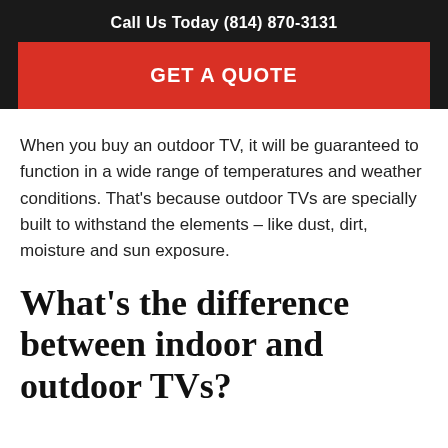Call Us Today (814) 870-3131
GET A QUOTE
When you buy an outdoor TV, it will be guaranteed to function in a wide range of temperatures and weather conditions. That’s because outdoor TVs are specially built to withstand the elements – like dust, dirt, moisture and sun exposure.
What’s the difference between indoor and outdoor TVs?